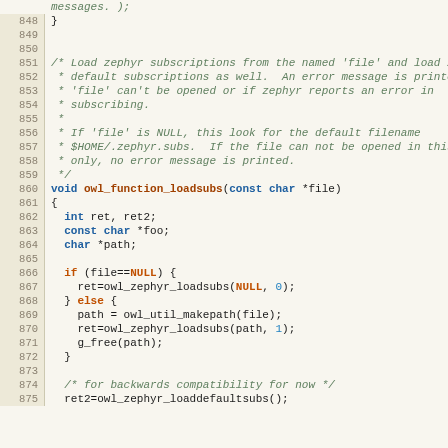Source code listing lines 848-875, C code for owl_function_loadsubs function with comments and body